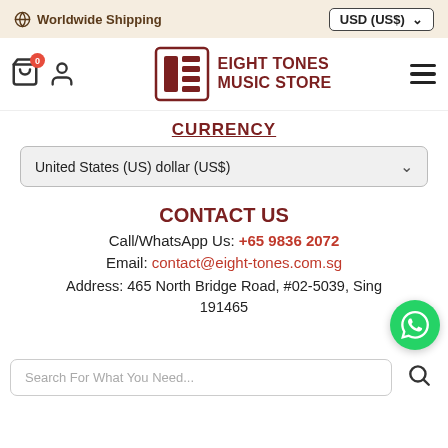Worldwide Shipping | USD (US$)
[Figure (logo): Eight Tones Music Store logo with stylized Chinese characters and text]
CURRENCY
United States (US) dollar (US$)
CONTACT US
Call/WhatsApp Us: +65 9836 2072
Email: contact@eight-tones.com.sg
Address: 465 North Bridge Road, #02-5039, Singapore 191465
Search For What You Need...